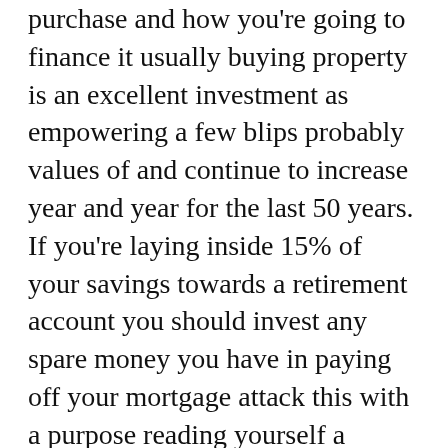purchase and how you're going to finance it usually buying property is an excellent investment as empowering a few blips probably values of and continue to increase year and year for the last 50 years. If you're laying inside 15% of your savings towards a retirement account you should invest any spare money you have in paying off your mortgage attack this with a purpose reading yourself a mortgage is a massive milestone and journey to financial freedom.
Consider purchasing rental properties until you pay down your first property even then a rental property should only be purchased if you have